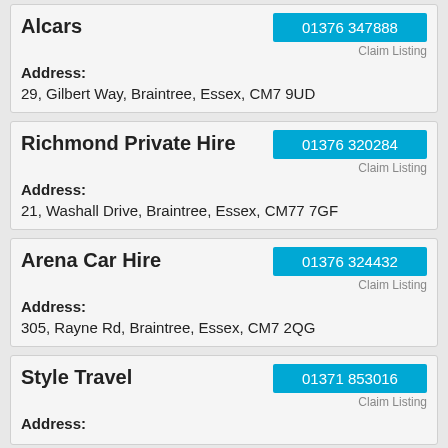Alcars | 01376 347888 | Address: | 29, Gilbert Way, Braintree, Essex, CM7 9UD | Claim Listing
Richmond Private Hire | 01376 320284 | Address: | 21, Washall Drive, Braintree, Essex, CM77 7GF | Claim Listing
Arena Car Hire | 01376 324432 | Address: | 305, Rayne Rd, Braintree, Essex, CM7 2QG | Claim Listing
Style Travel | 01371 853016 | Address: | Claim Listing